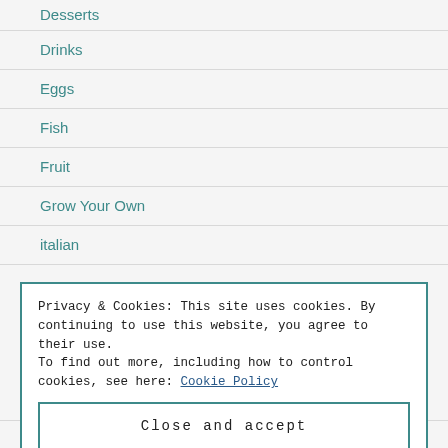Desserts
Drinks
Eggs
Fish
Fruit
Grow Your Own
italian
Privacy & Cookies: This site uses cookies. By continuing to use this website, you agree to their use. To find out more, including how to control cookies, see here: Cookie Policy
Close and accept
Meat